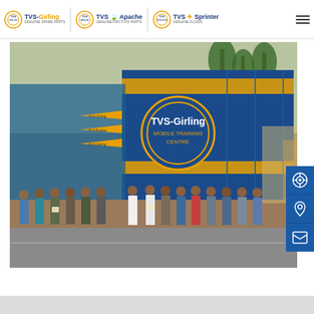TVS-Girling | TVS Apache | TVS Sprinter — navigation header with logos
[Figure (photo): Group of approximately 15 people standing in front of a large blue and yellow shipping container/mobile training center branded 'TVS-Girling Mobile Training Centre'. The container has yellow diagonal stripe graphics and the TVS-Girling logo. People are holding certificates. Palm trees and a road visible in background.]